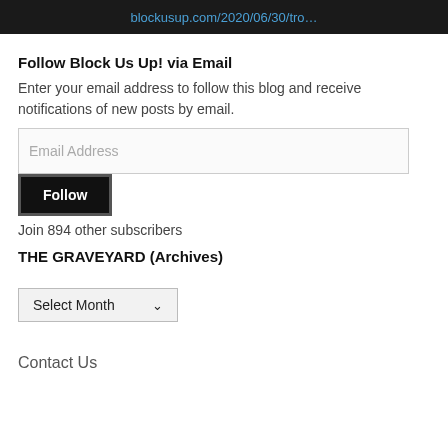blockusup.com/2020/06/30/tro…
Follow Block Us Up! via Email
Enter your email address to follow this blog and receive notifications of new posts by email.
Email Address
Follow
Join 894 other subscribers
THE GRAVEYARD (Archives)
Select Month
Contact Us